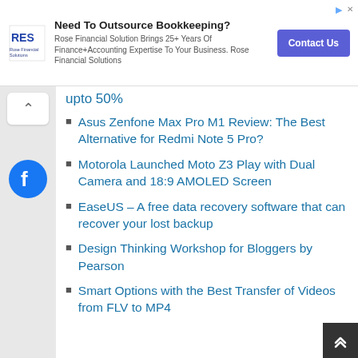[Figure (screenshot): Advertisement banner for Rose Financial Solutions: 'Need To Outsource Bookkeeping?' with logo, subtext, and Contact Us button]
upto 50%
Asus Zenfone Max Pro M1 Review: The Best Alternative for Redmi Note 5 Pro?
Motorola Launched Moto Z3 Play with Dual Camera and 18:9 AMOLED Screen
EaseUS – A free data recovery software that can recover your lost backup
Design Thinking Workshop for Bloggers by Pearson
Smart Options with the Best Transfer of Videos from FLV to MP4